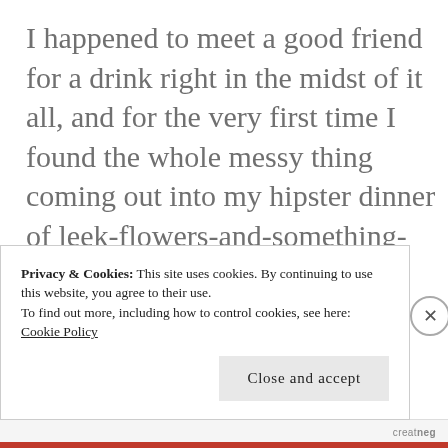I happened to meet a good friend for a drink right in the midst of it all, and for the very first time I found the whole messy thing coming out into my hipster dinner of leek-flowers-and-something-else. I only remember the leek flowers because the waiter had been so keen to tell us how tenderly they had been foraged, and because I didn't know leeks even had
Privacy & Cookies: This site uses cookies. By continuing to use this website, you agree to their use.
To find out more, including how to control cookies, see here:
Cookie Policy
Close and accept